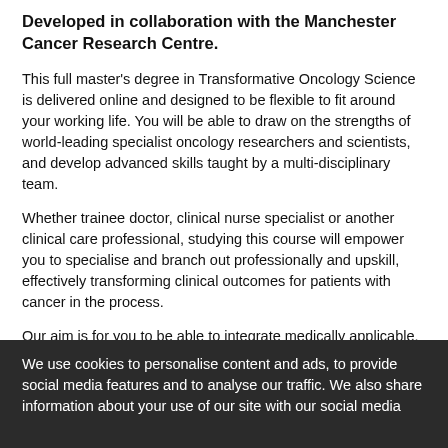Developed in collaboration with the Manchester Cancer Research Centre.
This full master's degree in Transformative Oncology Science is delivered online and designed to be flexible to fit around your working life. You will be able to draw on the strengths of world-leading specialist oncology researchers and scientists, and develop advanced skills taught by a multi-disciplinary team.
Whether trainee doctor, clinical nurse specialist or another clinical care professional, studying this course will empower you to specialise and branch out professionally and upskill, effectively transforming clinical outcomes for patients with cancer in the process.
Our aim is for you to be able to integrate medically applicable, real-world skills directly into your workplace, as well as developing critical insight into the physical principles underpinning radiotherapy, medical imaging for radiotherapy, treatment planning
We use cookies to personalise content and ads, to provide social media features and to analyse our traffic. We also share information about your use of our site with our social media